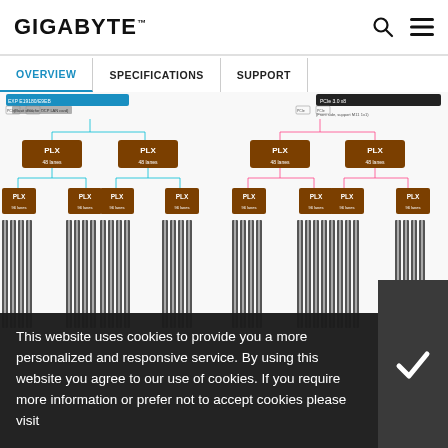GIGABYTE
OVERVIEW | SPECIFICATIONS | SUPPORT
[Figure (schematic): PLX switch fabric block diagram showing a hierarchical tree of PLX chips: two PLX 48-lane chips at the top level connecting to eight PLX 96-lane chips at the second level, with PCIe slot connectors at the bottom. The diagram is split into two identical halves, each with one PLX 48-lane chip connecting to two PLX 48-lane chips, which each connect to four PLX 96-lane chips, leading to groups of PCIe slots. Cyan and pink colored connection lines indicate different signal paths.]
This website uses cookies to provide you a more personalized and responsive service. By using this website you agree to our use of cookies. If you require more information or prefer not to accept cookies please visit